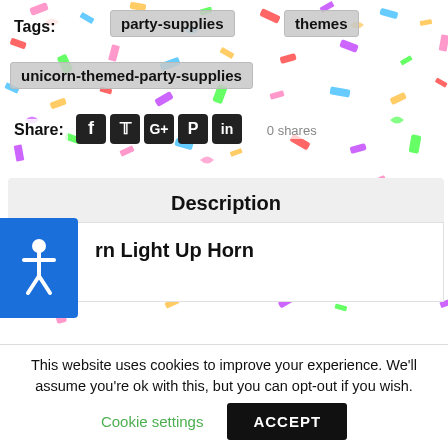Tags:
party-supplies
themes
unicorn-themed-party-supplies
Share:
0 shares
Description
[Figure (other): Accessibility icon button (blue square with person figure)]
rn Light Up Horn
This website uses cookies to improve your experience. We'll assume you're ok with this, but you can opt-out if you wish.
Cookie settings
ACCEPT